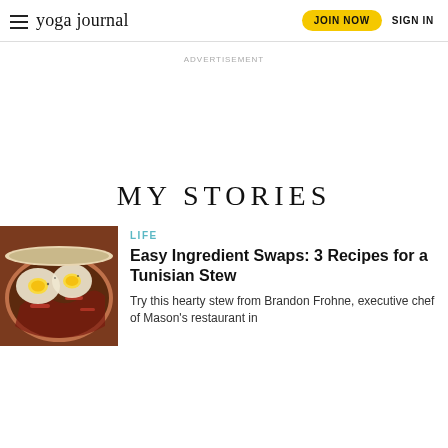yoga journal | JOIN NOW | SIGN IN
ADVERTISEMENT
MY STORIES
LIFE
Easy Ingredient Swaps: 3 Recipes for a Tunisian Stew
Try this hearty stew from Brandon Frohne, executive chef of Mason's restaurant in
[Figure (photo): Bowl of Tunisian stew topped with two fried eggs sunny side up, with colorful vegetables visible beneath]